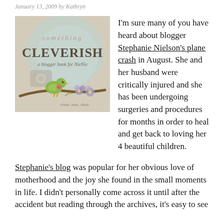January 13, 2009 by Kathryn
[Figure (illustration): Cover of 'Something Cleverish – a blogger book for NieNie', featuring illustrated text with a green bird sitting on a branch with purple flowers on a light blue/beige background.]
I'm sure many of you have heard about blogger Stephanie Nielson's plane crash in August. She and her husband were critically injured and she has been undergoing surgeries and procedures for months in order to heal and get back to loving her 4 beautiful children.
Stephanie's blog was popular for her obvious love of motherhood and the joy she found in the small moments in life. I didn't personally come across it until after the accident but reading through the archives, it's easy to see